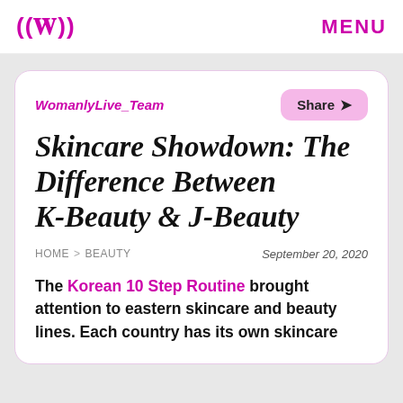((W)) MENU
WomanlyLive_Team
Skincare Showdown: The Difference Between K-Beauty & J-Beauty
HOME > BEAUTY   September 20, 2020
The Korean 10 Step Routine brought attention to eastern skincare and beauty lines. Each country has its own skincare